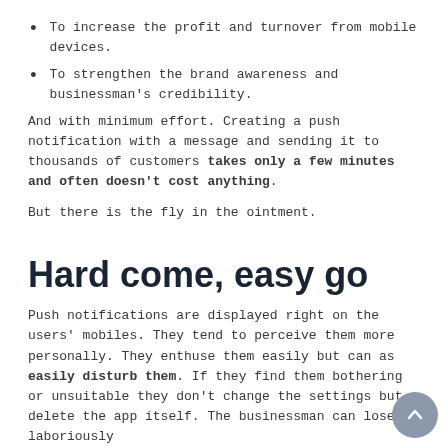To increase the profit and turnover from mobile devices.
To strengthen the brand awareness and businessman's credibility.
And with minimum effort. Creating a push notification with a message and sending it to thousands of customers takes only a few minutes and often doesn't cost anything.
But there is the fly in the ointment.
Hard come, easy go
Push notifications are displayed right on the users' mobiles. They tend to perceive them more personally. They enthuse them easily but can as easily disturb them. If they find them bothering or unsuitable they don't change the settings but delete the app itself. The businessman can lose a laboriously